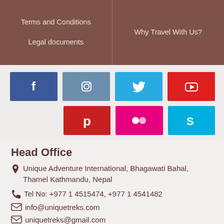Terms and Conditions | Why Travel With Us? | Legal documents
[Figure (other): Social media buttons: Facebook, Instagram, Twitter, YouTube, Pinterest, Flickr, Skype]
Head Office
Unique Adventure International, Bhagawati Bahal, Thamel Kathmandu, Nepal
Tel No: +977 1 4515474, +977 1 4541482
info@uniquetreks.com
uniquetreks@gmail.com